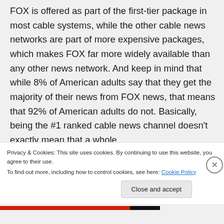FOX is offered as part of the first-tier package in most cable systems, while the other cable news networks are part of more expensive packages, which makes FOX far more widely available than any other news network. And keep in mind that while 8% of American adults say that they get the majority of their news from FOX news, that means that 92% of American adults do not. Basically, being the #1 ranked cable news channel doesn't exactly mean that a whole
Privacy & Cookies: This site uses cookies. By continuing to use this website, you agree to their use.
To find out more, including how to control cookies, see here: Cookie Policy